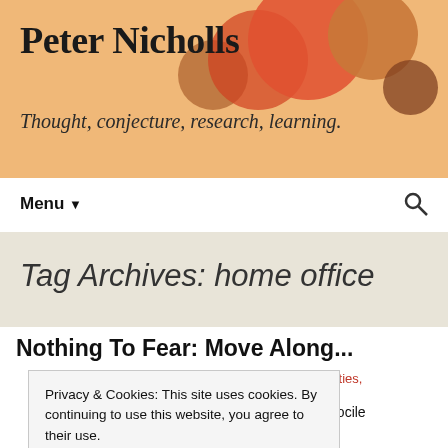Peter Nicholls
Thought, conjecture, research, learning.
Menu ▼
Tag Archives: home office
Nothing To Fear: Move Along...
anti terror, civil liberties, surveillance
se, are generally a docile much when their civil n, we found out that the
Privacy & Cookies: This site uses cookies. By continuing to use this website, you agree to their use. To find out more, including how to control cookies, see here: Cookie Policy
Close and accept